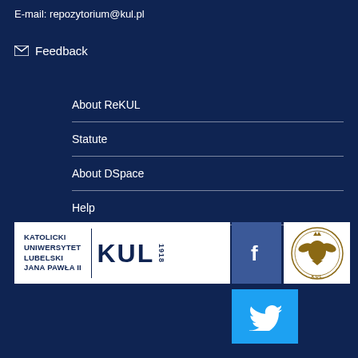E-mail: repozytorium@kul.pl
✉ Feedback
About ReKUL
Statute
About DSpace
Help
[Figure (logo): KUL - Katolicki Uniwersytet Lubelski Jana Pawła II logo banner with Facebook button]
[Figure (logo): KUL university seal/crest logo on white background]
[Figure (logo): Twitter bird icon button on teal/blue background]